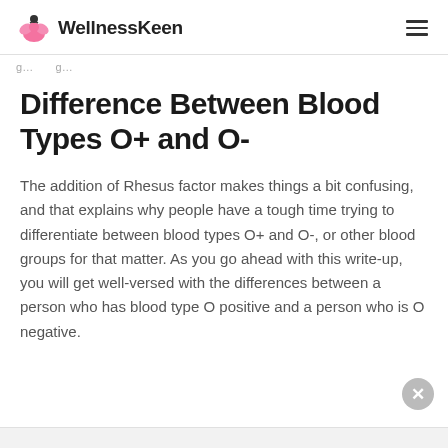WellnessKeen
g...g...
Difference Between Blood Types O+ and O-
The addition of Rhesus factor makes things a bit confusing, and that explains why people have a tough time trying to differentiate between blood types O+ and O-, or other blood groups for that matter. As you go ahead with this write-up, you will get well-versed with the differences between a person who has blood type O positive and a person who is O negative.